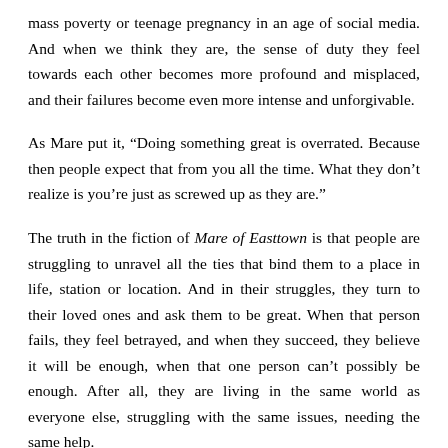mass poverty or teenage pregnancy in an age of social media. And when we think they are, the sense of duty they feel towards each other becomes more profound and misplaced, and their failures become even more intense and unforgivable.
As Mare put it, “Doing something great is overrated. Because then people expect that from you all the time. What they don’t realize is you’re just as screwed up as they are.”
The truth in the fiction of Mare of Easttown is that people are struggling to unravel all the ties that bind them to a place in life, station or location. And in their struggles, they turn to their loved ones and ask them to be great. When that person fails, they feel betrayed, and when they succeed, they believe it will be enough, when that one person can’t possibly be enough. After all, they are living in the same world as everyone else, struggling with the same issues, needing the same help.